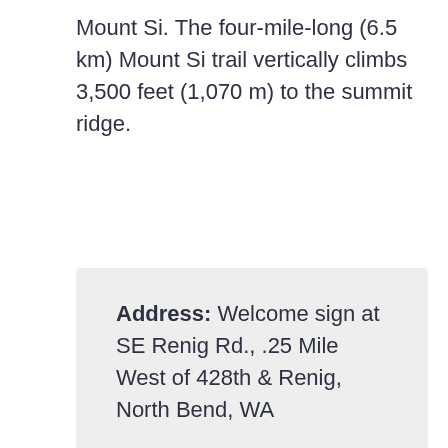Mount Si. The four-mile-long (6.5 km) Mount Si trail vertically climbs 3,500 feet (1,070 m) to the summit ridge.
Address: Welcome sign at SE Renig Rd., .25 Mile West of 428th & Renig, North Bend, WA